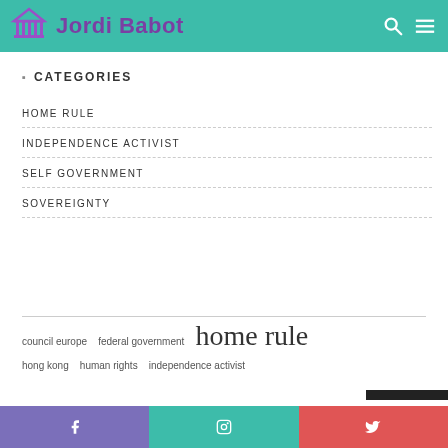Jordi Babot
CATEGORIES
HOME RULE
INDEPENDENCE ACTIVIST
SELF GOVERNMENT
SOVEREIGNTY
council europe   federal government   home rule
hong kong   human rights   independence activist